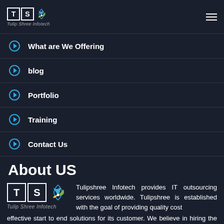Tulipshree Infotech logo and hamburger menu
What are We Offering
blog
Portfolio
Training
Contact Us
About US
[Figure (logo): Tulipshree Infotech logo with T S letters in boxes and stylized icon]
Tulipshree Infotech provides IT outsourcing services worldwide. Tulipshree is established with the goal of providing quality cost effective start to end solutions for its customer. We believe in hiring the expert resources and providing quality services to its